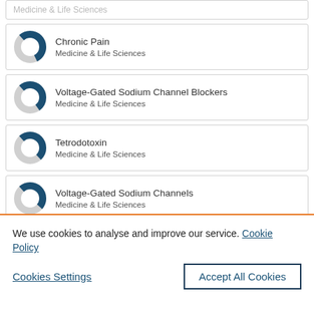Chronic Pain — Medicine & Life Sciences
Voltage-Gated Sodium Channel Blockers — Medicine & Life Sciences
Tetrodotoxin — Medicine & Life Sciences
Voltage-Gated Sodium Channels — Medicine & Life Sciences
We use cookies to analyse and improve our service. Cookie Policy
Cookies Settings
Accept All Cookies